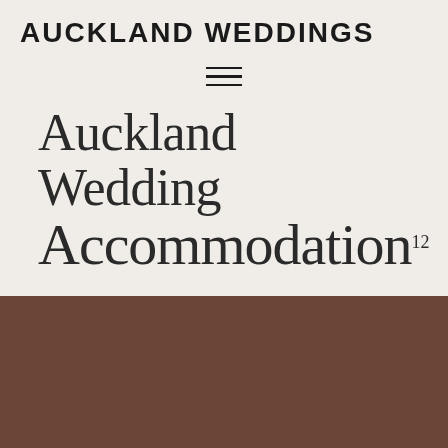AUCKLAND WEDDINGS
Auckland Wedding Accommodation
[Figure (photo): Brown/dark chocolate colored rectangular image block at bottom of page]